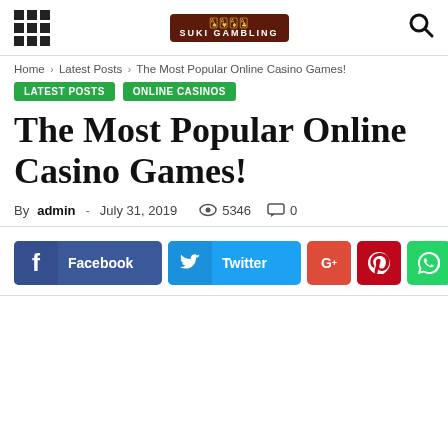SUKI GAMBLING
Home > Latest Posts > The Most Popular Online Casino Games!
LATEST POSTS   ONLINE CASINOS
The Most Popular Online Casino Games!
By admin - July 31, 2019   5346   0
[Figure (infographic): Social sharing buttons: Facebook, Twitter, Google+, Pinterest, WhatsApp]